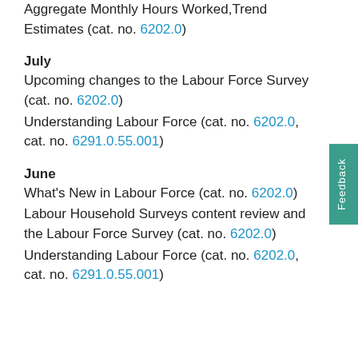Aggregate Monthly Hours Worked,Trend Estimates (cat. no. 6202.0)
July
Upcoming changes to the Labour Force Survey (cat. no. 6202.0)
Understanding Labour Force (cat. no. 6202.0, cat. no. 6291.0.55.001)
June
What's New in Labour Force (cat. no. 6202.0)
Labour Household Surveys content review and the Labour Force Survey (cat. no. 6202.0)
Understanding Labour Force (cat. no. 6202.0, cat. no. 6291.0.55.001)